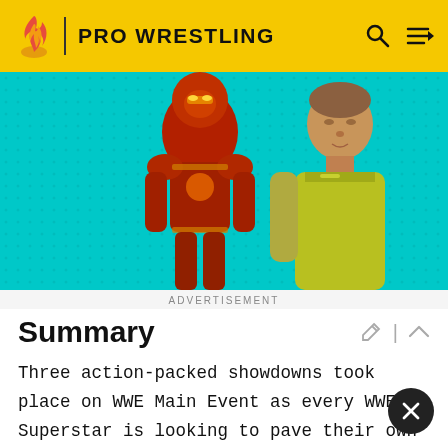PRO WRESTLING
[Figure (photo): Advertisement image showing Iron Man (red/gold armored figure) and a man in a yellow shirt on a teal background]
ADVERTISEMENT
Summary
Three action-packed showdowns took place on WWE Main Event as every WWE Superstar is looking to pave their own Road to WrestleMania XXX. The WWE Universe in Des Moines also welcomed home University of Iowa alum and current Intercontinental Champion Big E Langston, who battled Curtis Axel in one-on-one competition.